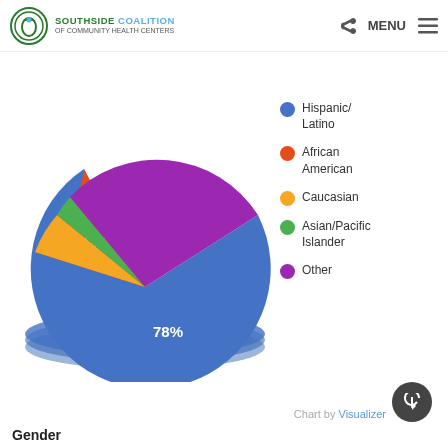SOUTHSIDE COALITION OF COMMUNITY HEALTH CENTERS | MENU
[Figure (pie-chart): ]
Hispanic/Latino
African American
Caucasian
Asian/Pacific Islander
Other
Chart by Visualizer
Gender